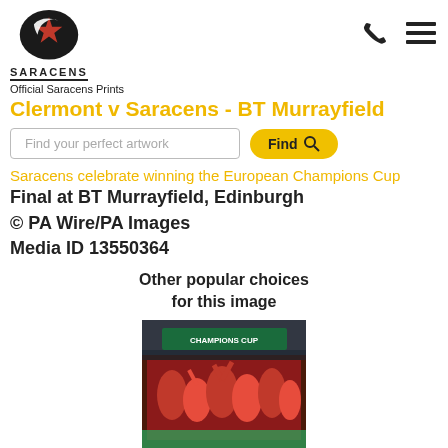[Figure (logo): Saracens rugby club logo - black oval with red star, text SARACENS below]
Official Saracens Prints
Clermont v Saracens - BT Murrayfield
Find your perfect artwork
Saracens celebrate winning the European Champions Cup Final at BT Murrayfield, Edinburgh
© PA Wire/PA Images
Media ID 13550364
Other popular choices for this image
[Figure (photo): Rugby team celebrating with Champions Cup trophy, players in red shirts]
Jigsaw Puzzle
Photo Mug